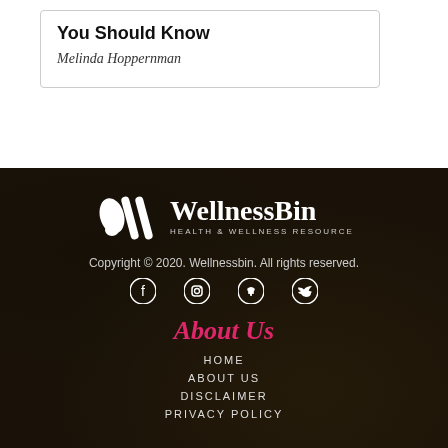You Should Know
Melinda Hoppernman
[Figure (logo): WellnessBin Health & Wellness Resource logo with stylized quotation mark icon in white]
Copyright © 2020. Wellnessbin. All rights reserved.
[Figure (infographic): Social media icons: Facebook, Instagram, Pinterest, Twitter in white circles]
About Us
HOME
ABOUT US
DISCLAIMER
PRIVACY POLICY